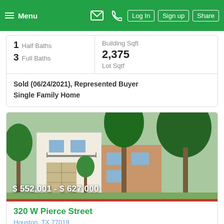Menu | Log In | Sign up | Share
| 1 Half Baths | Building Sqft |
| 3 Full Baths | 2,375 |
|  | Lot Sqtf |
Sold (06/24/2021), Represented Buyer
Single Family Home
[Figure (photo): Street view photo of a multi-story white townhouse with green trees, garage, and adjacent brick building]
$552,001 - $627,000
320 W Pierce Street
Houston, TX 77019